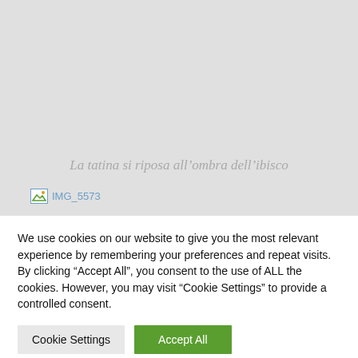[Figure (other): Grey background area representing a partially loaded webpage with an image placeholder]
La tatina si riposa all’ombra dell’ibisco
[Figure (other): Broken image placeholder labeled IMG_5573]
We use cookies on our website to give you the most relevant experience by remembering your preferences and repeat visits. By clicking “Accept All”, you consent to the use of ALL the cookies. However, you may visit "Cookie Settings" to provide a controlled consent.
Cookie Settings | Accept All